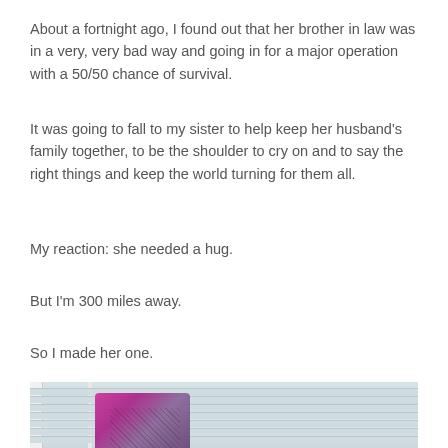About a fortnight ago, I found out that her brother in law was in a very, very bad way and going in for a major operation with a 50/50 chance of survival.
It was going to fall to my sister to help keep her husband's family together, to be the shoulder to cry on and to say the right things and keep the world turning for them all.
My reaction: she needed a hug.
But I'm 300 miles away.
So I made her one.
[Figure (photo): A knitted or crocheted item in bright pink/magenta and grey tones, hanging or draped near a window with white horizontal blinds visible in the background.]